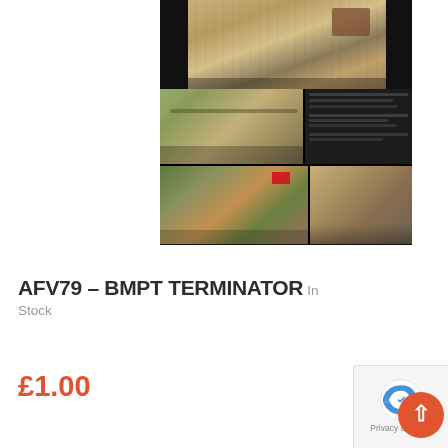[Figure (photo): Product thumbnail showing a book spread about BMPT Terminator tank - top portion shows a large tan camouflaged tank, bottom shows book pages with multiple images of the tank including side views and a diorama scene]
AFV79 – BMPT TERMINATOR
In Stock
£1.00